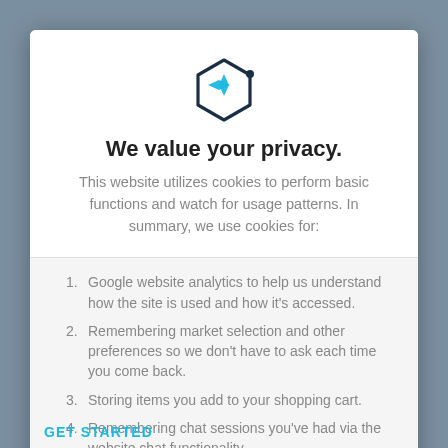[Figure (logo): Hexagon shape with a blue compass/cross icon inside, dark navy outline with a small dot on the upper right]
We value your privacy.
This website utilizes cookies to perform basic functions and watch for usage patterns. In summary, we use cookies for:
Google website analytics to help us understand how the site is used and how it's accessed.
Remembering market selection and other preferences so we don't have to ask each time you come back.
Storing items you add to your shopping cart.
Remembering chat sessions you've had via the website chat functionality.
YES, I ACCEPT
GET STARTED